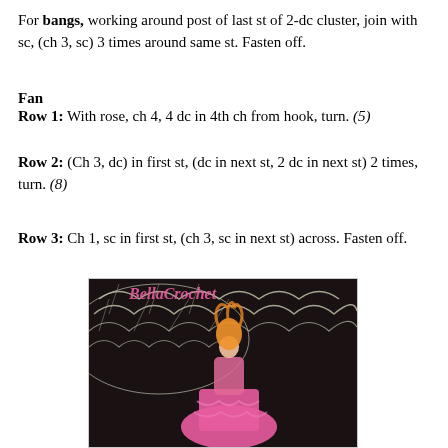For bangs, working around post of last st of 2-dc cluster, join with sc, (ch 3, sc) 3 times around same st. Fasten off.
Fan
Row 1: With rose, ch 4, 4 dc in 4th ch from hook, turn. (5)
Row 2: (Ch 3, dc) in first st, (dc in next st, 2 dc in next st) 2 times, turn. (8)
Row 3: Ch 1, sc in first st, (ch 3, sc in next st) across. Fasten off.
[Figure (photo): A crocheted doll figure in pink with orange hair, set against a dark background, with a white lacy crochet fan/doily piece. Watermark text 'BellaCrochet' in pink at the top.]